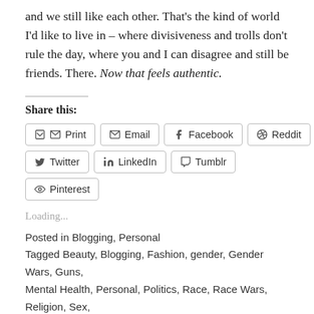and we still like each other. That's the kind of world I'd like to live in – where divisiveness and trolls don't rule the day, where you and I can disagree and still be friends. There. Now that feels authentic.
Share this:
Print | Email | Facebook | Reddit | Twitter | LinkedIn | Tumblr | Pinterest
Loading...
Posted in Blogging, Personal
Tagged Beauty, Blogging, Fashion, gender, Gender Wars, Guns, Mental Health, Personal, Politics, Race, Race Wars, Religion, Sex,